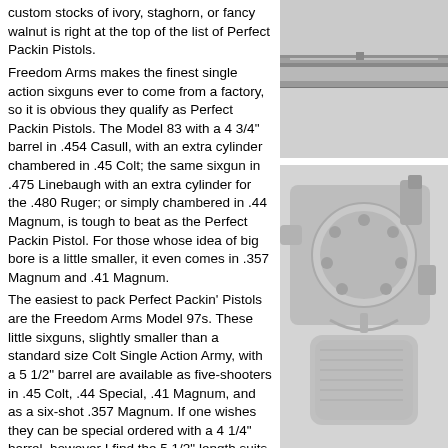custom stocks of ivory, staghorn, or fancy walnut is right at the top of the list of Perfect Packin Pistols.
Freedom Arms makes the finest single action sixguns ever to come from a factory, so it is obvious they qualify as Perfect Packin Pistols. The Model 83 with a 4 3/4" barrel in .454 Casull, with an extra cylinder chambered in .45 Colt; the same sixgun in .475 Linebaugh with an extra cylinder for the .480 Ruger; or simply chambered in .44 Magnum, is tough to beat as the Perfect Packin Pistol. For those whose idea of big bore is a little smaller, it even comes in .357 Magnum and .41 Magnum.
The easiest to pack Perfect Packin' Pistols are the Freedom Arms Model 97s. These little sixguns, slightly smaller than a standard size Colt Single Action Army, with a 5 1/2" barrel are available as five-shooters in .45 Colt, .44 Special, .41 Magnum, and as a six-shot .357 Magnum. If one wishes they can be special ordered with a 4 1/4" barrel, however I find the 5 1/2" length suits me just fine.
Texas Longhorn Arms' Improved Number Five was a salute to Elmer Keith and his original #5SAA. The Improved Number Five from Texas Longhorn Arms managed to maintain the flavor of
[Figure (photo): Close-up grayscale photo of the barrel/cylinder area of a revolver, showing the top of the barrel and cylinder gap.]
[Figure (photo): Grayscale photo of the action/cylinder area of a single action revolver, showing the hammer, cylinder, trigger guard, and grip area.]